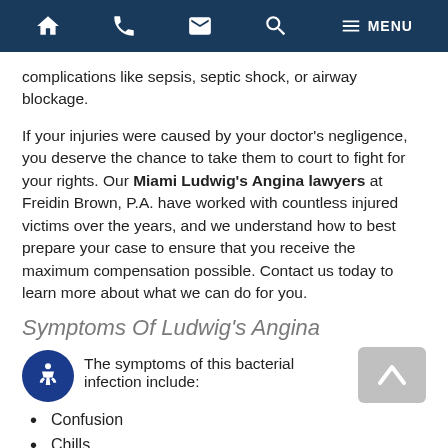Navigation bar with home, phone, email, search, and menu icons
complications like sepsis, septic shock, or airway blockage.
If your injuries were caused by your doctor's negligence, you deserve the chance to take them to court to fight for your rights. Our Miami Ludwig's Angina lawyers at Freidin Brown, P.A. have worked with countless injured victims over the years, and we understand how to best prepare your case to ensure that you receive the maximum compensation possible. Contact us today to learn more about what we can do for you.
Symptoms Of Ludwig's Angina
The symptoms of this bacterial infection include:
Confusion
Chills